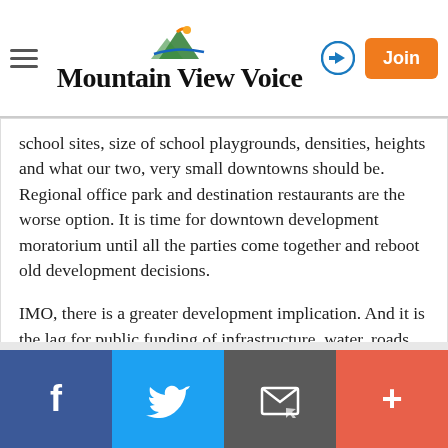Mountain View Voice
school sites, size of school playgrounds, densities, heights and what our two, very small downtowns should be. Regional office park and destination restaurants are the worse option. It is time for downtown development moratorium until all the parties come together and reboot old development decisions.
IMO, there is a greater development implication. And it is the lag for public funding of infrastructure..water, roads, trains and issues as small as Palo Alto's woefully under-funded, under-managed TMA.
Report Objectionable Content
Facebook | Twitter | Email | More